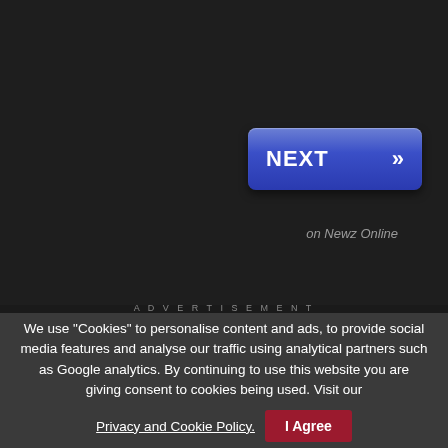[Figure (screenshot): Dark background UI with a blue NEXT button featuring double chevron arrows]
on Newz Online
ADVERTISEMENT
We use "Cookies" to personalise content and ads, to provide social media features and analyse our traffic using analytical partners such as Google analytics. By continuing to use this website you are giving consent to cookies being used. Visit our Privacy and Cookie Policy.
I Agree